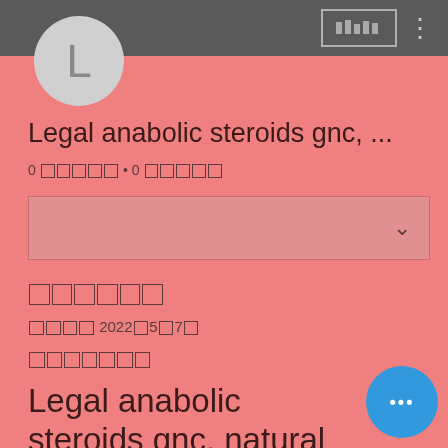[Figure (screenshot): Mobile app screenshot showing a profile page for 'Legal anabolic steroids gnc, ...' with avatar, metadata, dropdown, and body content on a pink background with dark top bar]
Legal anabolic steroids gnc, ...
0 □□□□□ • 0 □□□□□
□□□□□□
□□□□ 2022□5□7□
□□□□□□□
Legal anabolic steroids gnc, natural alternative steroids